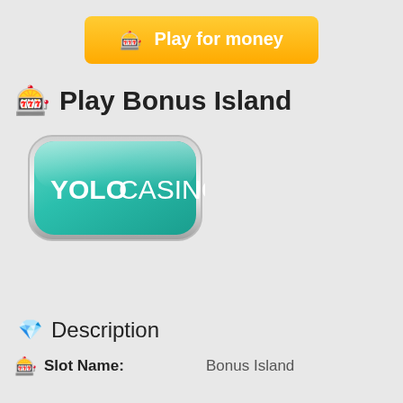[Figure (other): Orange 'Play for money' button with slot machine icon]
🎰 Play Bonus Island
[Figure (logo): YOLO Casino logo - teal/green rounded rectangle with silver border and white text 'YOLOCASINO']
💎 Description
| Slot Name: | Bonus Island |